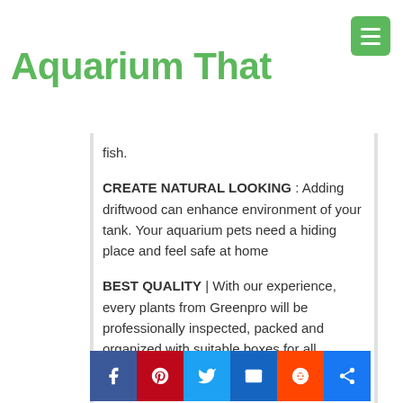Aquarium That
fish.
CREATE NATURAL LOOKING : Adding driftwood can enhance environment of your tank. Your aquarium pets need a hiding place and feel safe at home
BEST QUALITY | With our experience, every plants from Greenpro will be professionally inspected, packed and organized with suitable boxes for all weather conditions to make sure that will retain the freshness and healthiness to our customer hands.
HIGH TECHNOLOGY : these plants are